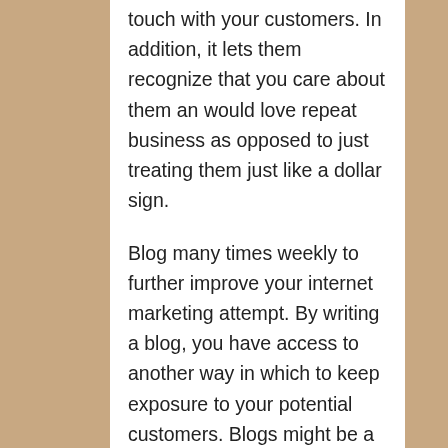touch with your customers. In addition, it lets them recognize that you care about them an would love repeat business as opposed to just treating them just like a dollar sign.
Blog many times weekly to further improve your internet marketing attempt. By writing a blog, you have access to another way in which to keep exposure to your potential customers. Blogs might be a terrific way to expand your website’s size, that will give your website greater visibility to search engines and increase the level of traffic to your web page.